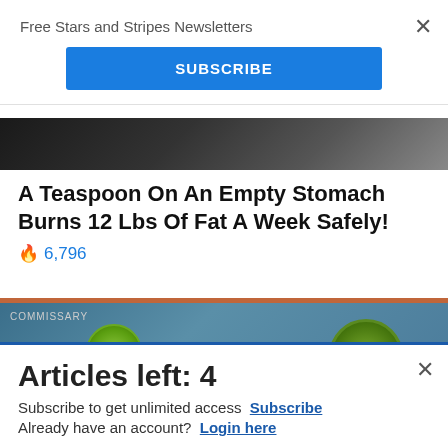Free Stars and Stripes Newsletters
[Figure (screenshot): Blue SUBSCRIBE button]
[Figure (photo): Partial image strip showing people, dark clothing]
A Teaspoon On An Empty Stomach Burns 12 Lbs Of Fat A Week Safely!
🔥 6,796
[Figure (screenshot): Commissary Click2Go advertisement banner with logo]
Articles left: 4
Subscribe to get unlimited access Subscribe
Already have an account? Login here